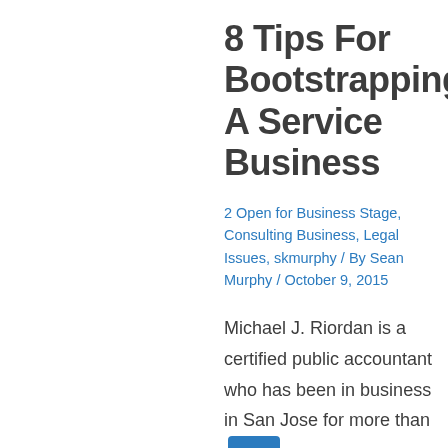8 Tips For Bootstrapping A Service Business
2 Open for Business Stage, Consulting Business, Legal Issues, skmurphy / By Sean Murphy / October 9, 2015
Michael J. Riordan is a certified public accountant who has been in business in San Jose for more than years. He gave a crisp